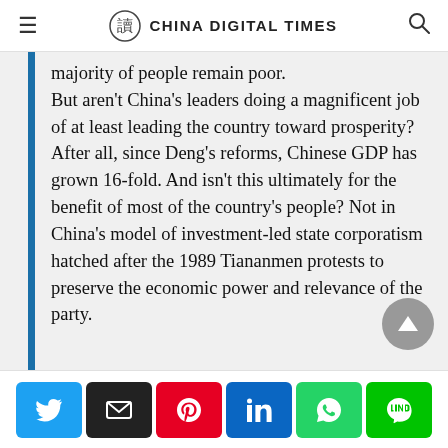CHINA DIGITAL TIMES
majority of people remain poor. But aren't China's leaders doing a magnificent job of at least leading the country toward prosperity? After all, since Deng's reforms, Chinese GDP has grown 16-fold. And isn't this ultimately for the benefit of most of the country's people? Not in China's model of investment-led state corporatism hatched after the 1989 Tiananmen protests to preserve the economic power and relevance of the party.
Share buttons: Twitter, Email, Pinterest, LinkedIn, WhatsApp, Line